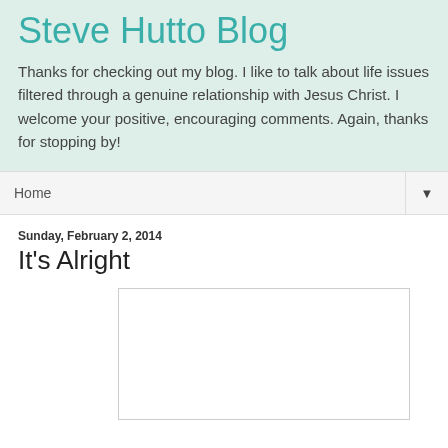Steve Hutto Blog
Thanks for checking out my blog. I like to talk about life issues filtered through a genuine relationship with Jesus Christ. I welcome your positive, encouraging comments. Again, thanks for stopping by!
Home ▼
Sunday, February 2, 2014
It's Alright
[Figure (photo): White image placeholder box]